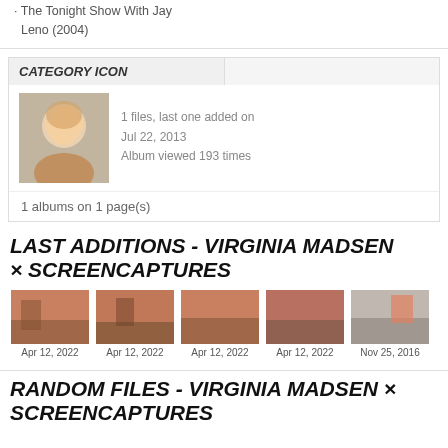The Tonight Show With Jay Leno (2004)
| CATEGORY ICON |  |
| --- | --- |
| [thumbnail] 1 files, last one added on Jul 22, 2013
Album viewed 193 times |  |
| 1 albums on 1 page(s) |  |
LAST ADDITIONS - VIRGINIA MADSEN × SCREENCAPTURES
[Figure (photo): Five thumbnail photos: four dated Apr 12, 2022 and one dated Nov 25, 2016]
RANDOM FILES - VIRGINIA MADSEN × SCREENCAPTURES